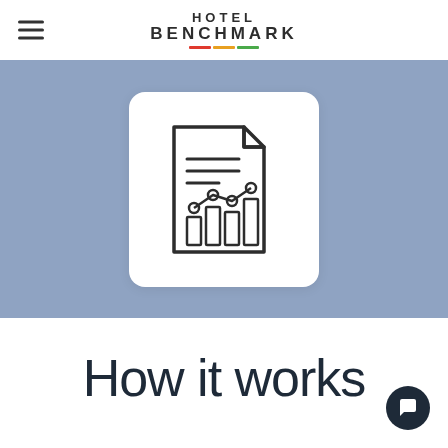HOTEL BENCHMARK
[Figure (illustration): A report/analytics document icon showing a page with lines of text and a bar chart with a line chart overlay, displayed inside a white rounded card on a blue-grey background.]
How it works